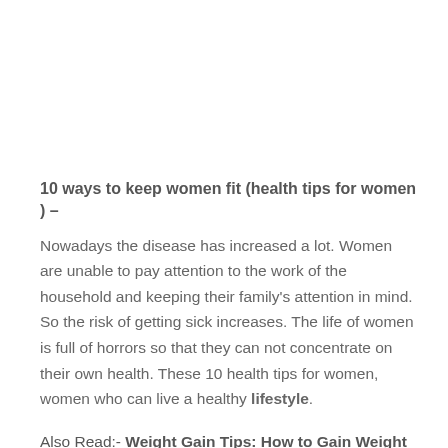10 ways to keep women fit (health tips for women ) –
Nowadays the disease has increased a lot. Women are unable to pay attention to the work of the household and keeping their family's attention in mind. So the risk of getting sick increases. The life of women is full of horrors so that they can not concentrate on their own health. These 10 health tips for women, women who can live a healthy lifestyle.
Also Read:- Weight Gain Tips: How to Gain Weight in 1 Month